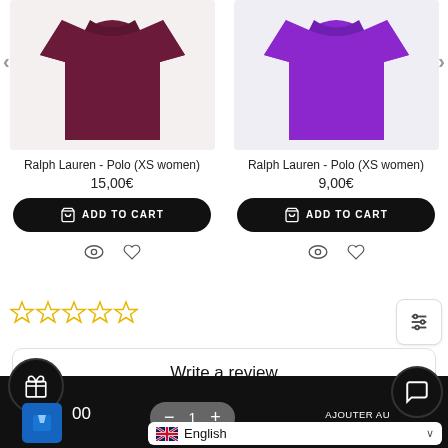[Figure (photo): Dark maroon Ralph Lauren polo shirt product photo]
Ralph Lauren - Polo (XS women)
15,00€
ADD TO CART
[Figure (photo): Purple Ralph Lauren polo shirt product photo]
Ralph Lauren - Polo (XS women)
9,00€
ADD TO CART
[Figure (other): Five empty star rating icons (0 of 5 stars)]
Write a review
00
1
AJOUTER AU PANIER
English